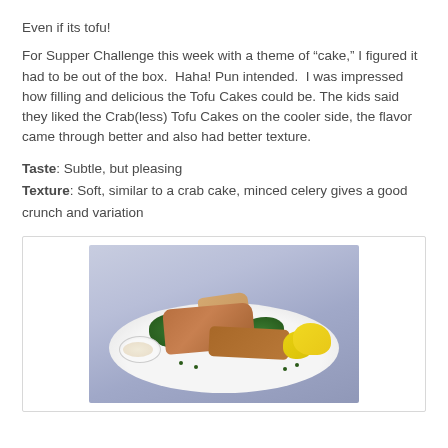Even if its tofu!
For Supper Challenge this week with a theme of “cake,” I figured it had to be out of the box.  Haha! Pun intended.  I was impressed how filling and delicious the Tofu Cakes could be. The kids said they liked the Crab(less) Tofu Cakes on the cooler side, the flavor came through better and also had better texture.
Taste: Subtle, but pleasing
Texture: Soft, similar to a crab cake, minced celery gives a good crunch and variation
[Figure (photo): A white plate with breaded tofu crab cakes, garnished with green parsley, lemon wedges, a small bowl of white sauce, and capers scattered around, on a light grey/blue background.]